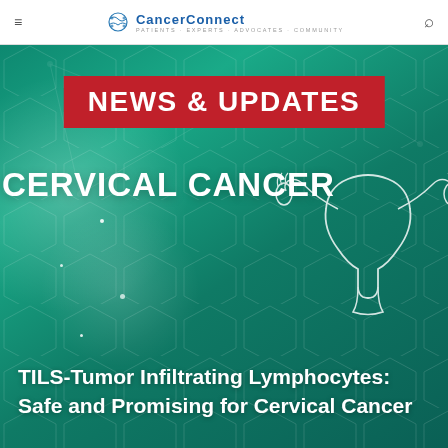CancerConnect — Patients · Experts · Advocates · Community
[Figure (illustration): CancerConnect website screenshot showing a teal/green hexagonal network background with 'NEWS & UPDATES' red banner, 'CERVICAL CANCER' heading with anatomical illustration, and article title 'TILS-Tumor Infiltrating Lymphocytes: Safe and Promising for Cervical Cancer']
NEWS & UPDATES
CERVICAL CANCER
TILS-Tumor Infiltrating Lymphocytes: Safe and Promising for Cervical Cancer